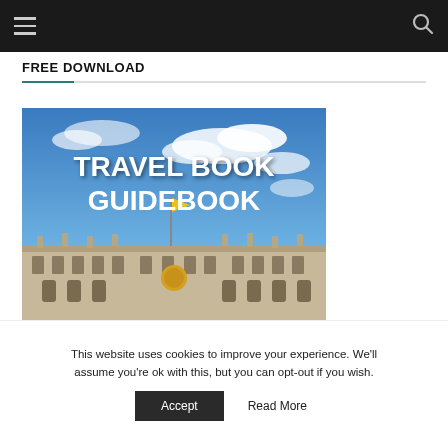Navigation bar with hamburger menu and search icon
FREE DOWNLOAD
[Figure (illustration): Travel Book Guidebook cover image showing a grand European building facade with blue sky and clouds, with large bold white text reading TRAVEL BOOK GUIDEBOOK overlaid on top]
This website uses cookies to improve your experience. We'll assume you're ok with this, but you can opt-out if you wish.
Accept   Read More